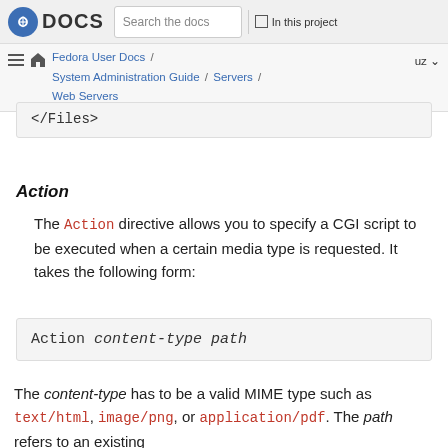DOCS | Search the docs | In this project
Fedora User Docs / System Administration Guide / Servers / Web Servers | uz
</Files>
Action
The Action directive allows you to specify a CGI script to be executed when a certain media type is requested. It takes the following form:
Action content-type path
The content-type has to be a valid MIME type such as text/html, image/png, or application/pdf. The path refers to an existing